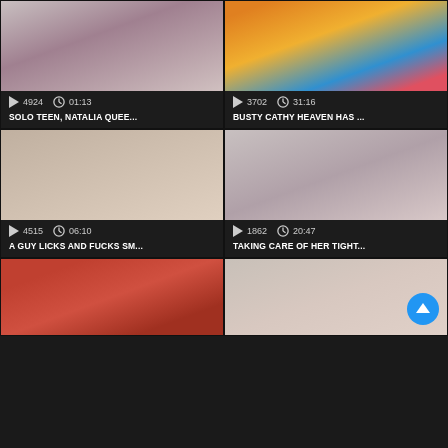[Figure (screenshot): Video thumbnail grid showing adult video website with 6 video cards in 2-column layout]
4924  01:13
SOLO TEEN, NATALIA QUEE...
3702  31:16
BUSTY CATHY HEAVEN HAS ...
4515  06:10
A GUY LICKS AND FUCKS SM...
1862  20:47
TAKING CARE OF HER TIGHT...